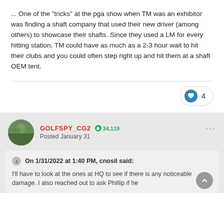... One of the "tricks" at the pga show when TM was an exhibitor was finding a shaft company that used their new driver (among others) to showcase their shafts. Since they used a LM for every hitting station, TM could have as much as a 2-3 hour wait to hit their clubs and you could often step right up and hit them at a shaft OEM tent.
GOLFSPY_CG2  34,119
Posted January 31
On 1/31/2022 at 1:40 PM, cnosil said:
I'll have to look at the ones at HQ to see if there is any noticeable damage.  I also reached out to ask Phillip if he